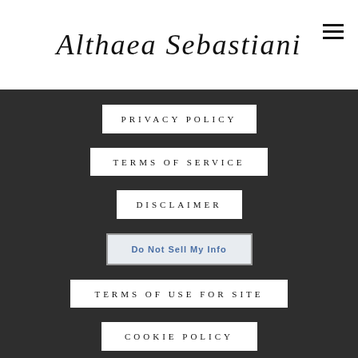Althaea Sebastiani
PRIVACY POLICY
TERMS OF SERVICE
DISCLAIMER
Do Not Sell My Info
TERMS OF USE FOR SITE
COOKIE POLICY